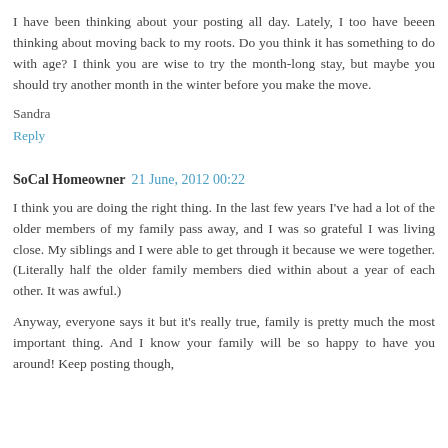I have been thinking about your posting all day. Lately, I too have beeen thinking about moving back to my roots. Do you think it has something to do with age? I think you are wise to try the month-long stay, but maybe you should try another month in the winter before you make the move.
Sandra
Reply
SoCal Homeowner  21 June, 2012 00:22
I think you are doing the right thing. In the last few years I've had a lot of the older members of my family pass away, and I was so grateful I was living close. My siblings and I were able to get through it because we were together. (Literally half the older family members died within about a year of each other. It was awful.)
Anyway, everyone says it but it's really true, family is pretty much the most important thing. And I know your family will be so happy to have you around! Keep posting though,